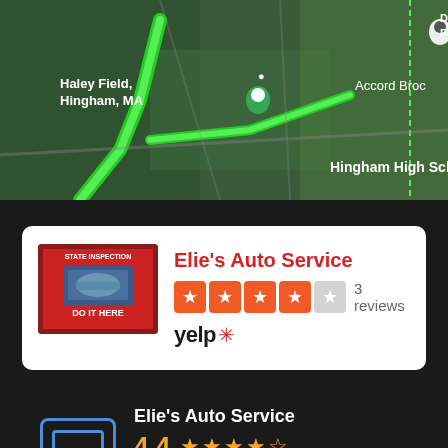[Figure (map): Google Maps satellite view showing Hingham, MA area with Haley Field, Downing Cottage Funeral Chapel, Hingham High School, and Accord Broc labels. Green route line visible.]
Elie's Auto Service
3.5 stars, 3 reviews
Yelp
Elie's Auto Service
4.4 stars
Based on 14 reviews
powered by Google
Abdelib Zehabi